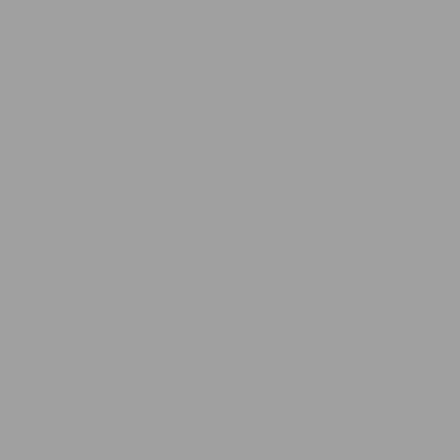| # | ID | Last Name | First Name |
| --- | --- | --- | --- |
| 239 | 1151 | Ribet | Laurent |
| 240 | 1361 | Vignone | Didier |
| 241 | 1071 | Mathieu | Christian |
| 242 | 1377 | Delarbre | Jean |
| 243 | 1482 | Guibert | Noel |
| 244 | 1490 | Mayaud | Philippe |
| 245 | 1379 | Helmer | Patrice |
| 246 | 1380 | Tolon | Frédéric |
| 247 | 511 | Jaulard | Cyril |
| 248 | 1205 | Pacaud | Mathieu |
| 249 | 1024 | Riviere | Philippe |
| 250 | 1085 | Pimont | Loïc |
| 251 | 1450 | Reynaud | Thierry |
| 252 | 1479 | Garcin | Jean-pierre |
| 253 | 1386 | Lyon | Pierre anto |
| 254 | 1317 | Oger | Dominique |
| 255 | 1090 | Sevilla | Pierre |
| 256 | 1224 | Laures | Bruno |
| 257 | 1227 | Navarro | Serge |
| 258 | 1136 | Pichon-martin | Michel |
| 259 | 1428 | Russias | Jacques |
| 260 | 1422 | Morvan | Patrick |
| 261 | 1223 | Beaudequin | Thierry |
| 262 | 1345 | Orban | Jean-christ |
| 263 | 1494 | Leplomb | Eric |
| 264 | 1394 | Lalou | Willi |